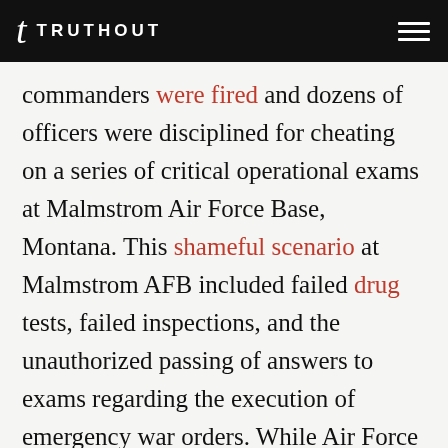TRUTHOUT
commanders were fired and dozens of officers were disciplined for cheating on a series of critical operational exams at Malmstrom Air Force Base, Montana. This shameful scenario at Malmstrom AFB included failed drug tests, failed inspections, and the unauthorized passing of answers to exams regarding the execution of emergency war orders. While Air Force leaders like Welsh lined up to formulaically denounce these violations of “basic Air Force values,” the damage had already been well done. The root